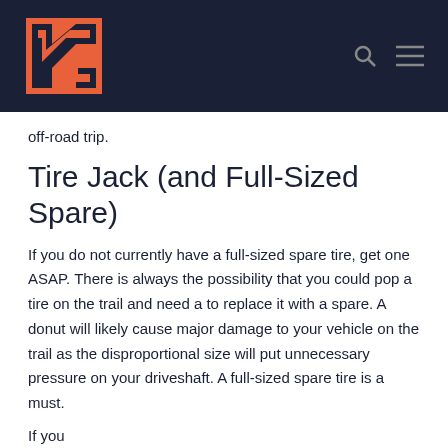[Figure (logo): Navigation logo with stylized N letter mark in coral/salmon color on dark navy background, with search and hamburger menu icons on the right]
off-road trip.
Tire Jack (and Full-Sized Spare)
If you do not currently have a full-sized spare tire, get one ASAP. There is always the possibility that you could pop a tire on the trail and need a to replace it with a spare. A donut will likely cause major damage to your vehicle on the trail as the disproportional size will put unnecessary pressure on your driveshaft. A full-sized spare tire is a must.
If you...